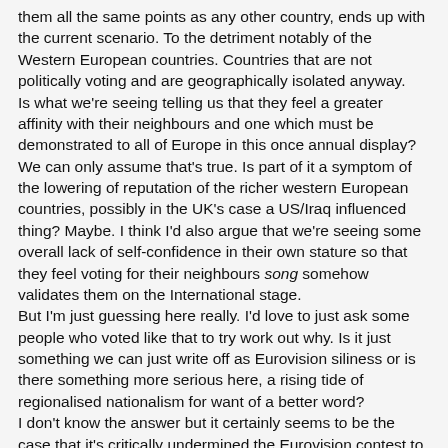them all the same points as any other country, ends up with the current scenario. To the detriment notably of the Western European countries. Countries that are not politically voting and are geographically isolated anyway.
Is what we're seeing telling us that they feel a greater affinity with their neighbours and one which must be demonstrated to all of Europe in this once annual display? We can only assume that's true. Is part of it a symptom of the lowering of reputation of the richer western European countries, possibly in the UK's case a US/Iraq influenced thing? Maybe. I think I'd also argue that we're seeing some overall lack of self-confidence in their own stature so that they feel voting for their neighbours song somehow validates them on the International stage.
But I'm just guessing here really. I'd love to just ask some people who voted like that to try work out why. Is it just something we can just write off as Eurovision siliness or is there something more serious here, a rising tide of regionalised nationalism for want of a better word?
I don't know the answer but it certainly seems to be the case that it's critically undermined the Eurovision contest to the point that Sir Terry was having trouble making light of it and I